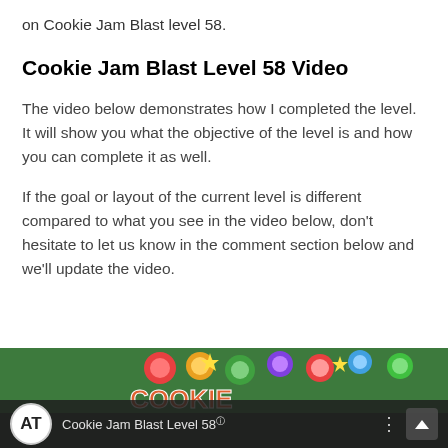on Cookie Jam Blast level 58.
Cookie Jam Blast Level 58 Video
The video below demonstrates how I completed the level. It will show you what the objective of the level is and how you can complete it as well.
If the goal or layout of the current level is different compared to what you see in the video below, don't hesitate to let us know in the comment section below and we'll update the video.
[Figure (screenshot): Video thumbnail showing Cookie Jam Blast Level 58 with colorful game pieces, and a video player bar at the bottom with AT logo and title 'Cookie Jam Blast Level 58']